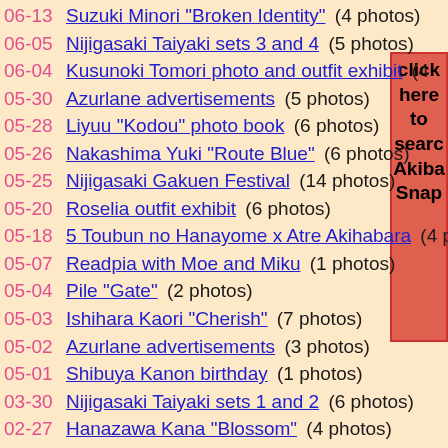06-13 Suzuki Minori 'Broken Identity' (4 photos)
06-05 Nijigasaki Taiyaki sets 3 and 4 (5 photos)
06-04 Kusunoki Tomori photo and outfit exhibit (4...
05-30 Azurlane advertisements (5 photos)
05-28 Liyuu "Kodou" photo book (6 photos)
05-26 Nakashima Yuki "Route Blue" (6 photos)
05-25 Nijigasaki Gakuen Festival (14 photos)
05-20 Roselia outfit exhibit (6 photos)
05-18 5 Toubun no Hanayome x Atre Akihabara (4 pho...
05-07 Readpia with Moe and Miku (1 photos)
05-04 Pile "Gate" (2 photos)
05-03 Ishihara Kaori "Cherish" (7 photos)
05-02 Azurlane advertisements (3 photos)
05-01 Shibuya Kanon birthday (1 photos)
03-30 Nijigasaki Taiyaki sets 1 and 2 (6 photos)
02-27 Hanazawa Kana "Blossom" (4 photos)
02-26 Minase Inori Live Tour "Hello Horizon" BD (5 pho...
02-25 Arashi Chisato birthday (1 photos)
02-01 Kanada Akemi "Sakura..." (4 photos)
click here to search Akiba Snap